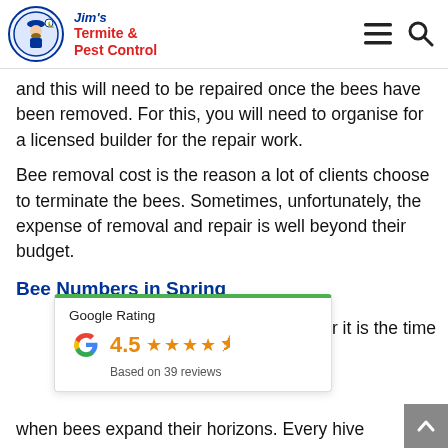Jim's Termite & Pest Control
and this will need to be repaired once the bees have been removed. For this, you will need to organise for a licensed builder for the repair work.
Bee removal cost is the reason a lot of clients choose to terminate the bees. Sometimes, unfortunately, the expense of removal and repair is well beyond their budget.
Bee Numbers in Spring
[Figure (other): Google Rating card showing 4.5 stars based on 39 reviews]
year it is the time when bees expand their horizons. Every hive